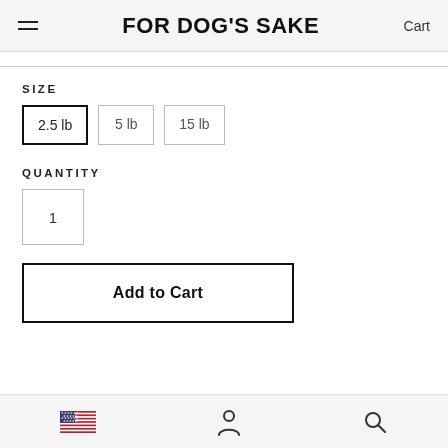FOR DOG'S SAKE | Cart
SIZE
2.5 lb | 5 lb | 15 lb
QUANTITY
1
Add to Cart
US flag | person icon | search icon